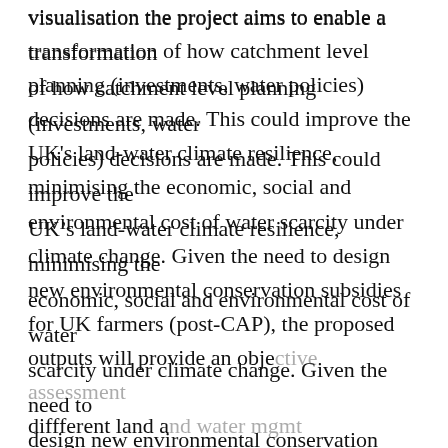visualisation the project aims to enable a transformation of how catchment level planning (investments, water policies) decisions are made. This could improve the UK's land-water climate resilience, minimising the economic, social and environmental cost of water scarcity under climate change. Given the need to design new environmental conservation subsidies for UK farmers (post-CAP), the proposed outputs will provide an obje[ctive assessment of the impacts of] diffferent land a[nd water management strategies] beneficially (or [otherwise) affecting water] outcomes. The [data and modelling tools will] enable subsequ[ent catchment-scale] drought management (real time water allocation), flood
Cookies are used to ensure you get the best experience on our website. Leave site
MORE INFO
GOT IT!